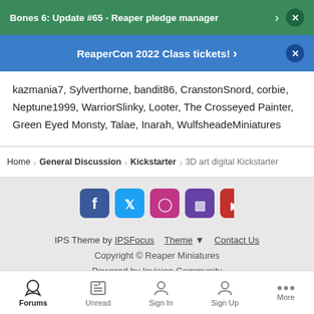Bones 6: Update #65 - Reaper pledge manager
ReaperCon 2022 Class tickets!
kazmania7, Sylverthorne, bandit86, CranstonSnord, corbie, Neptune1999, WarriorSlinky, Looter, The Crosseyed Painter, Green Eyed Monsty, Talae, Inarah, WulfsheadeMiniatures
Home › General Discussion › Kickstarter › 3D art digital Kickstarter
[Figure (other): Social media icons row: Facebook (blue), Twitter (light blue), Instagram (pink/purple gradient), Twitch (purple), YouTube (red)]
IPS Theme by IPSFocus   Theme ▾   Contact Us
Copyright © Reaper Miniatures
Powered by Invision Community
Forums  Unread  Sign In  Sign Up  More